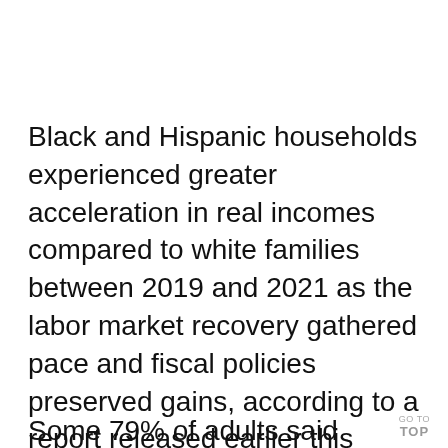Black and Hispanic households experienced greater acceleration in real incomes compared to white families between 2019 and 2021 as the labor market recovery gathered pace and fiscal policies preserved gains, according to a report released earlier this month by the JPMorgan Chase Institute, a global think tank.
Some 79% of adults said they were li